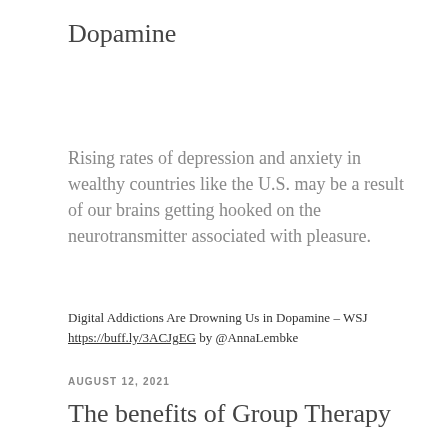Dopamine
Rising rates of depression and anxiety in wealthy countries like the U.S. may be a result of our brains getting hooked on the neurotransmitter associated with pleasure.
Digital Addictions Are Drowning Us in Dopamine – WSJ https://buff.ly/3ACJgEG by @AnnaLembke
AUGUST 12, 2021
The benefits of Group Therapy